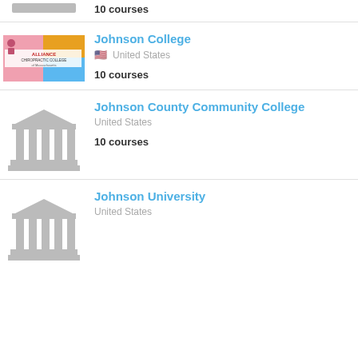10 courses
Johnson College
United States
10 courses
Johnson County Community College
United States
10 courses
Johnson University
United States